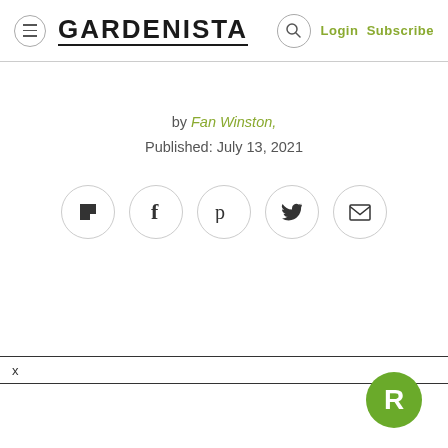GARDENISTA  Login Subscribe
by Fan Winston,
Published: July 13, 2021
[Figure (other): Social share buttons row: Flipboard, Facebook, Pinterest, Twitter, Email — each in a circular outline button]
[Figure (other): Close bar with X icon]
[Figure (logo): Green circular R badge in bottom-right corner]